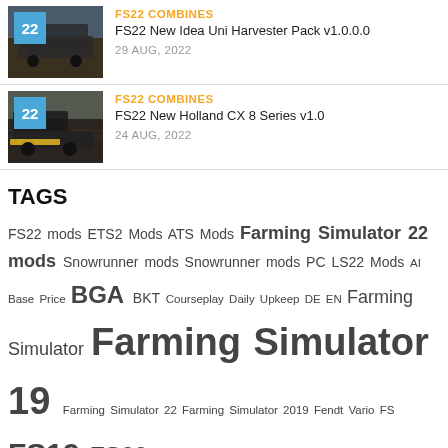[Figure (photo): Card with FS22 combine harvester thumbnail image with badge '22', category label FS22 COMBINES, title FS22 New Idea Uni Harvester Pack v1.0.0.0, date 29 AUG, 2022]
[Figure (photo): Card with FS22 combine harvester thumbnail image with badge '22', category label FS22 COMBINES, title FS22 New Holland CX 8 Series v1.0, date 24 AUG, 2022]
TAGS
FS22 mods ETS2 Mods ATS Mods Farming Simulator 22 mods Snowrunner mods Snowrunner mods PC LS22 Mods AI Base Price BGA BKT Courseplay Daily Upkeep DE EN Farming Simulator Farming Simulator 19 Farming Simulator 22 Farming Simulator 2019 Fendt Vario FS FS19 FS22 FS22 John Deere Game Farming Simulator Global Company GPS HP HUD IC John Deere LED LOG LS LS19 LS22 Manufacturer Lizard Massey Ferguson Maximum Speed Max Speed mods MP Needed Power New